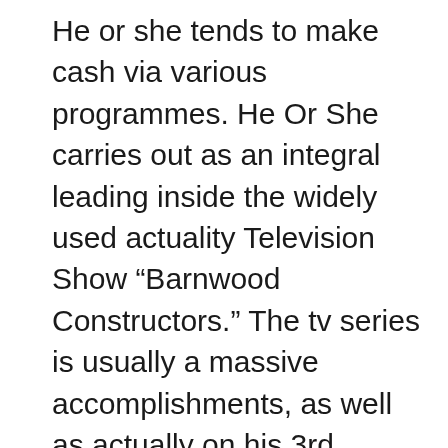He or she tends to make cash via various programmes. He Or She carries out as an integral leading inside the widely used actuality Television Show “Barnwood Constructors.” The tv series is usually a massive accomplishments, as well as actually on his 3rd phase. Additionally, he operates “Antique Cabins and tan” that’s renewed over 400 older communities (consists of compartments, assembles, as well as barns) to date. Looking into her or his accomplishments, as well as the attaining the guy tends to make